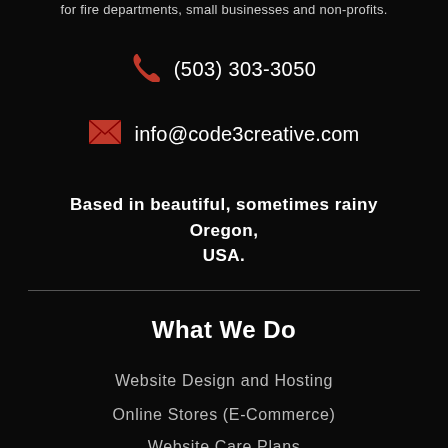for fire departments, small businesses and non-profits.
(503) 303-3050
info@code3creative.com
Based in beautiful, sometimes rainy Oregon, USA.
What We Do
Website Design and Hosting
Online Stores (E-Commerce)
Website Care Plans